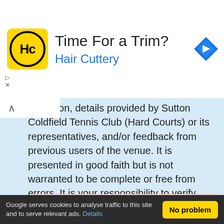[Figure (logo): Hair Cuttery advertisement banner with yellow HC logo, text 'Time For a Trim?' and 'Hair Cuttery' in blue, and a blue diamond arrow icon on the right]
formation, details provided by Sutton Coldfield Tennis Club (Hard Courts) or its representatives, and/or feedback from previous users of the venue. It is presented in good faith but is not warranted to be complete or free from errors. It is your responsibility to verify facts prior to making any commitments in respect of the details provided here. E&OE
⚠ Details not yet verified by venue
Venue owners/managers can add to this detail or correct
Google serves cookies to analyse traffic to this site and to serve relevant ads. Details    No problem